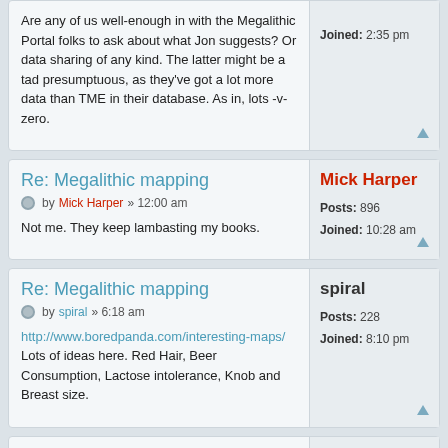Are any of us well-enough in with the Megalithic Portal folks to ask about what Jon suggests? Or data sharing of any kind. The latter might be a tad presumptuous, as they've got a lot more data than TME in their database. As in, lots -v- zero.
Joined: 2:35 pm
Re: Megalithic mapping
by Mick Harper » 12:00 am
Mick Harper
Posts: 896
Joined: 10:28 am
Not me. They keep lambasting my books.
Re: Megalithic mapping
by spiral » 6:18 am
spiral
Posts: 228
Joined: 8:10 pm
http://www.boredpanda.com/interesting-maps/
Lots of ideas here. Red Hair, Beer Consumption, Lactose intolerance, Knob and Breast size.
Re: Megalithic mapping
by Mick Harper » 11:31 am
Mick Harper
Posts: 896
Joined: 10:28 am
Most amusing. And educational. "Every Country England Has Ever Invaded" bemused me and "The Most-Listened-To Artist In Every U.S. State" finally disabused me of having any